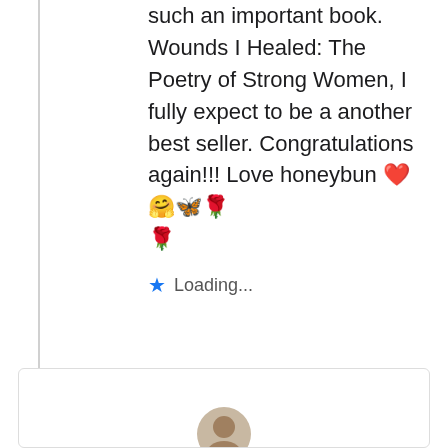such an important book. Wounds I Healed: The Poetry of Strong Women, I fully expect to be a another best seller. Congratulations again!!! Love honeybun ❤️🤗🦋🌹🌹
Loading...
[Figure (photo): Bottom of page showing start of another comment card with a partially visible avatar/profile photo]